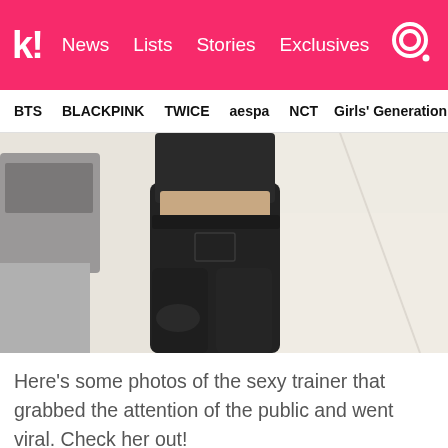k! News   Lists   Stories   Exclusives
BTS   BLACKPINK   TWICE   aespa   NCT   Girls' Generation
[Figure (photo): Close-up photo of a person wearing a black crop top and black fitted pants/jeans, showing midriff and lower body, standing outdoors on a light-colored pavement with parked cars visible in the background.]
Here's some photos of the sexy trainer that grabbed the attention of the public and went viral. Check her out!